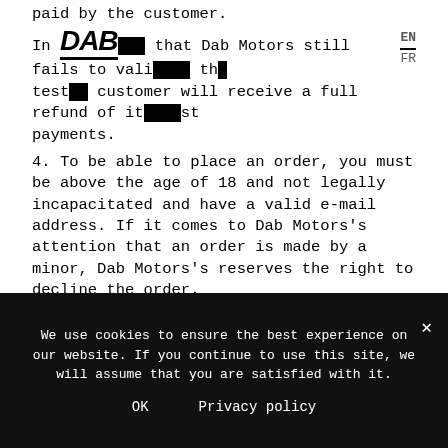paid by the customer.
In the event that Dab Motors still fails to validate the tests, customer will receive a full refund of its past payments.
4. To be able to place an order, you must be above the age of 18 and not legally incapacitated and have a valid e-mail address. If it comes to Dab Motors's attention that an order is made by a minor, Dab Motors's reserves the right to decline the order.
5. You shall bear the sole and exclusive responsibility for all aspects of your rides, including the compliance with all road, traffic and insurance rules that may apply to you. These rules may vary in each country. It is your responsibility to assess your compliance in this respect
6. You shall bear your owns costs relating to the use of your Dab Motors motorcycles.
We use cookies to ensure the best experience on our website. If you continue to use this site, we will assume that you are satisfied with it.
OK    Privacy policy